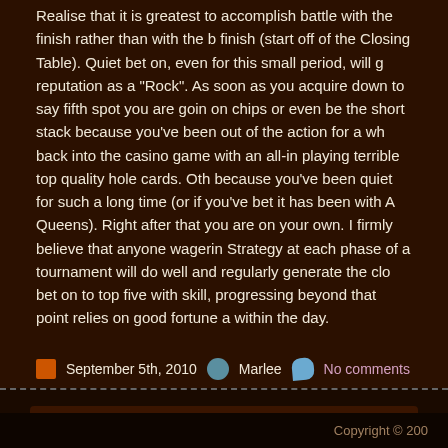Realise that it is greatest to accomplish battle with the finish rather than with the b... finish (start off of the Closing Table). Quiet bet on, even for this small period, will g... reputation as a "Rock". As soon as you acquire down to say fifth spot you are goin... on chips or even be the short stack because you've been out of the action for a wh... back into the casino game with an all-in playing terrible top quality hole cards. Oth... because you've been quiet for such a long time (or if you've bet it has been with A... Queens). Right after that you are on your own. I firmly believe that anyone wagerin... Strategy at each phase of a tournament will do well and regularly generate the clo... bet on to top five with skill, progressing beyond that point relies on good fortune a... within the day.
September 5th, 2010   Marlee   No comments
Leave A Reply
You must be logged in to post a comment.
Copyright © 200